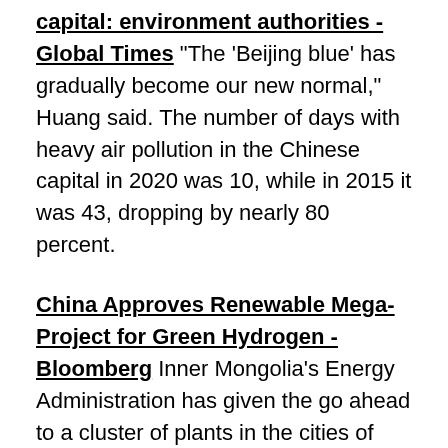capital: environment authorities - Global Times "The 'Beijing blue' has gradually become our new normal," Huang said. The number of days with heavy air pollution in the Chinese capital in 2020 was 10, while in 2015 it was 43, dropping by nearly 80 percent.
China Approves Renewable Mega-Project for Green Hydrogen - Bloomberg Inner Mongolia's Energy Administration has given the go ahead to a cluster of plants in the cities of Ordos and Baotou that will use 1.85 gigawatts of solar and 370 megawatts of wind to produce 66,900 tons of green hydrogen a year, the Hydrogen Energy Industry Promotion Association said in a report. Development will begin in October and the projects will be operational in mid-2023, the association said, without specifying the cost or the